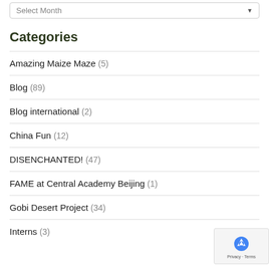Select Month
Categories
Amazing Maize Maze (5)
Blog (89)
Blog international (2)
China Fun (12)
DISENCHANTED! (47)
FAME at Central Academy Beijing (1)
Gobi Desert Project (34)
Interns (3)